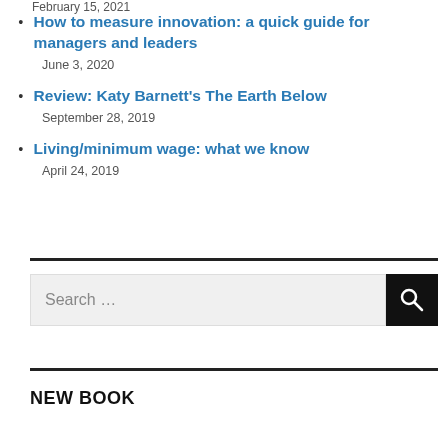February 15, 2021
How to measure innovation: a quick guide for managers and leaders
June 3, 2020
Review: Katy Barnett's The Earth Below
September 28, 2019
Living/minimum wage: what we know
April 24, 2019
Search ...
NEW BOOK